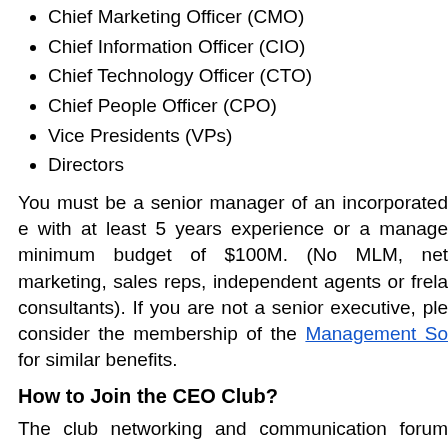Chief Marketing Officer (CMO)
Chief Information Officer (CIO)
Chief Technology Officer (CTO)
Chief People Officer (CPO)
Vice Presidents (VPs)
Directors
You must be a senior manager of an incorporated e with at least 5 years experience or a manage minimum budget of $100M. (No MLM, net marketing, sales reps, independent agents or freel consultants). If you are not a senior executive, ple consider the membership of the Management So for similar benefits.
How to Join the CEO Club?
The club networking and communication forum managed on the free LinkedIn website. You can set professional profile and request your group member for free. If you believe you are qualified for the g membership, then please submit your request to: